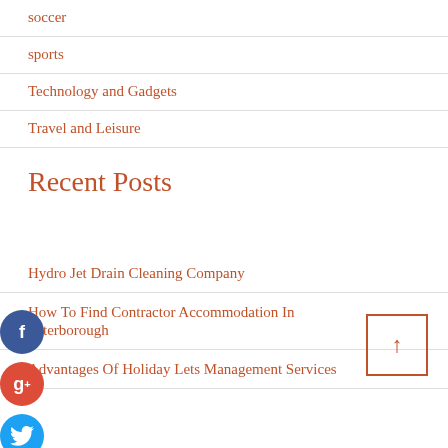soccer
sports
Technology and Gadgets
Travel and Leisure
Recent Posts
Hydro Jet Drain Cleaning Company
How To Find Contractor Accommodation In Peterborough
Advantages Of Holiday Lets Management Services